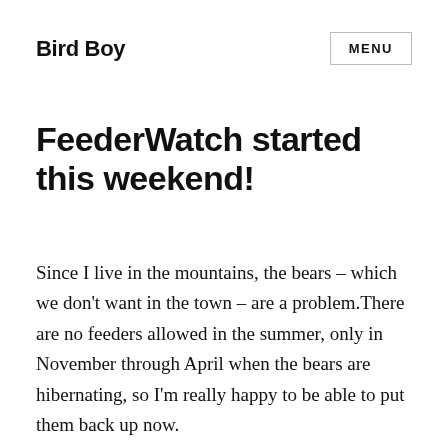Bird Boy
FeederWatch started this weekend!
Since I live in the mountains, the bears – which we don't want in the town – are a problem.There are no feeders allowed in the summer, only in November through April when the bears are hibernating, so I'm really happy to be able to put them back up now.